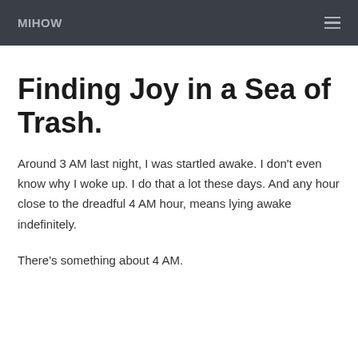MIHOW
Finding Joy in a Sea of Trash.
Around 3 AM last night, I was startled awake. I don't even know why I woke up. I do that a lot these days. And any hour close to the dreadful 4 AM hour, means lying awake indefinitely.
There's something about 4 AM.